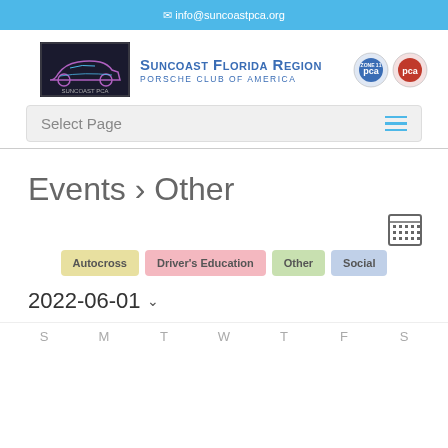✉ info@suncoastpca.org
[Figure (logo): Suncoast PCA club logo with stylized Porsche car silhouette in blue/purple on dark background]
SUNCOAST FLORIDA REGION Porsche Club of America
[Figure (logo): PCA zone 11 and PCA national circular badges]
Select Page
Events › Other
[Figure (other): Calendar/grid icon]
Autocross
Driver's Education
Other
Social
2022-06-01
S  M  T  W  T  F  S